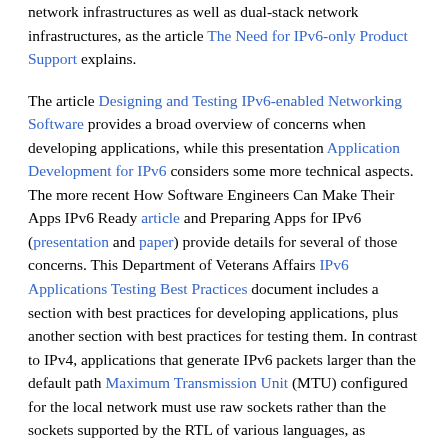network infrastructures as well as dual-stack network infrastructures, as the article The Need for IPv6-only Product Support explains.
The article Designing and Testing IPv6-enabled Networking Software provides a broad overview of concerns when developing applications, while this presentation Application Development for IPv6 considers some more technical aspects. The more recent How Software Engineers Can Make Their Apps IPv6 Ready article and Preparing Apps for IPv6 (presentation and paper) provide details for several of those concerns. This Department of Veterans Affairs IPv6 Applications Testing Best Practices document includes a section with best practices for developing applications, plus another section with best practices for testing them. In contrast to IPv4, applications that generate IPv6 packets larger than the default path Maximum Transmission Unit (MTU) configured for the local network must use raw sockets rather than the sockets supported by the RTL of various languages, as described in this article.
This guide provides additional information for application developers. Tips on writing applications to run on multiple operating systems are offered by this Cross-Platform IPv6 Socket Programming article, while this IPv6 Guide for Windows Sockets